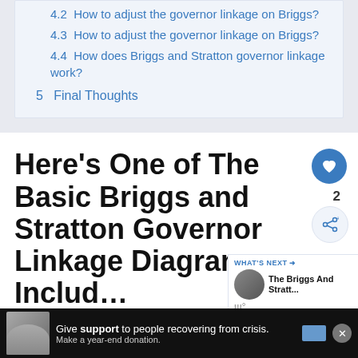4.2 How to adjust the governor linkage on Briggs?
4.3 How to adjust the governor linkage on Briggs?
4.4 How does Briggs and Stratton governor linkage work?
5 Final Thoughts
Here's One of The Basic Briggs and Stratton Governor Linkage Diagrams Includ…